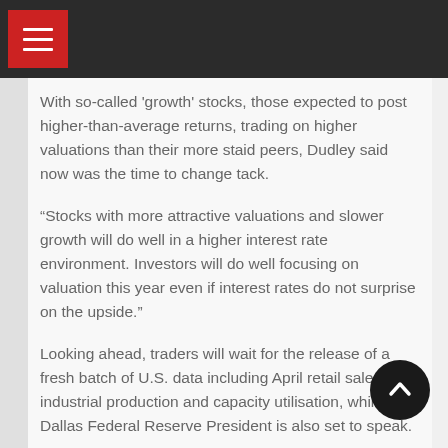With so-called 'growth' stocks, those expected to post higher-than-average returns, trading on higher valuations than their more staid peers, Dudley said now was the time to change tack.
“Stocks with more attractive valuations and slower growth will do well in a higher interest rate environment. Investors will do well focusing on valuation this year even if interest rates do not surprise on the upside.”
Looking ahead, traders will wait for the release of a fresh batch of U.S. data including April retail sales, industrial production and capacity utilisation, while the Dallas Federal Reserve President is also set to speak.
In Europe, meanwhile, the European Central Bank is